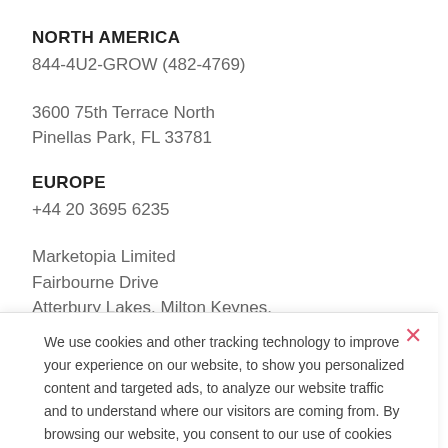NORTH AMERICA
844-4U2-GROW (482-4769)
3600 75th Terrace North
Pinellas Park, FL 33781
EUROPE
+44 20 3695 6235
Marketopia Limited
Fairbourne Drive
Atterbury Lakes. Milton Keynes.
Buckinghamshire
MK10 9RG
We use cookies and other tracking technology to improve your experience on our website, to show you personalized content and targeted ads, to analyze our website traffic and to understand where our visitors are coming from. By browsing our website, you consent to our use of cookies and other tracking technologies.
Accept
Learn more about how we use cookies.